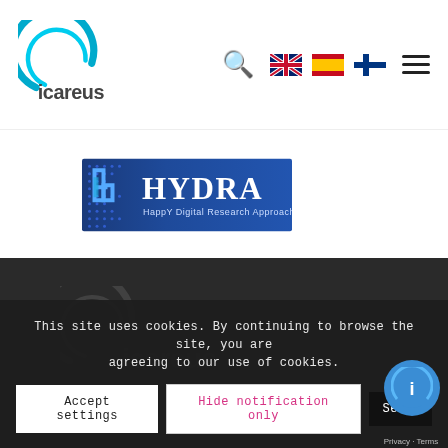Icareus website header with logo, search, language flags (EN, ES, FI), and hamburger menu
[Figure (logo): HYDRA – HappY Digital Research Approach logo. Blue rectangular banner with stylized 'h' icon on left and large white text 'HYDRA' with subtitle 'HappY Digital Research Approach'.]
[Figure (screenshot): Cookie consent notification bar at bottom of page with text: 'This site uses cookies. By continuing to browse the site, you are agreeing to our use of cookies.' with three buttons: Accept settings, Hide notification only, Settings. A small blue Icareus circular logo appears bottom right with Privacy · Terms text.]